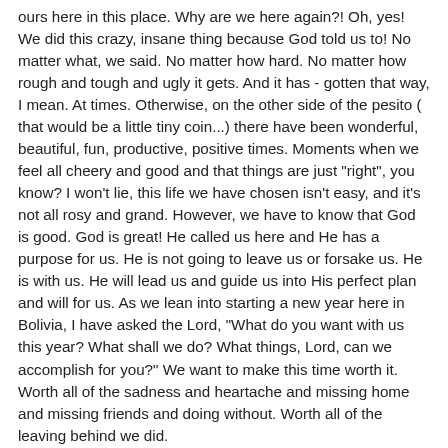ours here in this place. Why are we here again?! Oh, yes! We did this crazy, insane thing because God told us to! No matter what, we said. No matter how hard. No matter how rough and tough and ugly it gets. And it has - gotten that way, I mean. At times. Otherwise, on the other side of the pesito ( that would be a little tiny coin...) there have been wonderful, beautiful, fun, productive, positive times. Moments when we feel all cheery and good and that things are just "right", you know? I won't lie, this life we have chosen isn't easy, and it's not all rosy and grand. However, we have to know that God is good. God is great! He called us here and He has a purpose for us. He is not going to leave us or forsake us. He is with us. He will lead us and guide us into His perfect plan and will for us. As we lean into starting a new year here in Bolivia, I have asked the Lord, "What do you want with us this year? What shall we do? What things, Lord, can we accomplish for you?" We want to make this time worth it. Worth all of the sadness and heartache and missing home and missing friends and doing without. Worth all of the leaving behind we did.
  I (Shay) feel strongly that the Lord wants me (personally) to build more meaningful relationships with Bolivians and